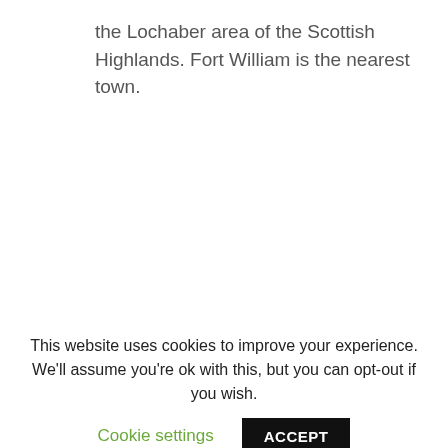the Lochaber area of the Scottish Highlands. Fort William is the nearest town.
This website uses cookies to improve your experience. We'll assume you're ok with this, but you can opt-out if you wish.
Cookie settings
ACCEPT